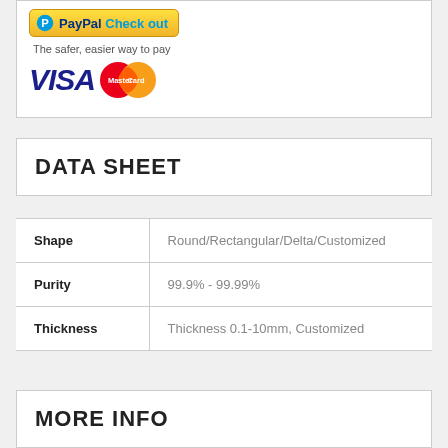[Figure (logo): PayPal Check out button with 'The safer, easier way to pay' text, followed by VISA and MasterCard logos]
DATA SHEET
| Shape | Round/Rectangular/Delta/Customized |
| Purity | 99.9% - 99.99% |
| Thickness | Thickness 0.1-10mm, Customized |
MORE INFO